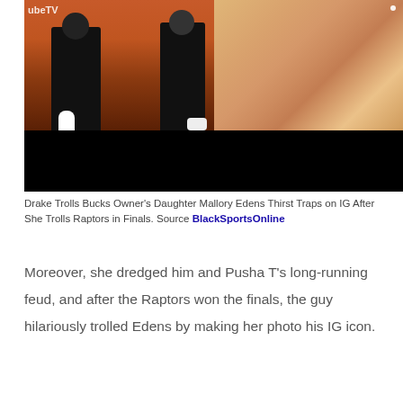[Figure (photo): Two side-by-side photos: left shows people standing on a basketball court floor with 'ubeTV' text visible, right shows a woman with blonde hair outdoors]
Drake Trolls Bucks Owner's Daughter Mallory Edens Thirst Traps on IG After She Trolls Raptors in Finals. Source BlackSportsOnline
Moreover, she dredged him and Pusha T's long-running feud, and after the Raptors won the finals, the guy hilariously trolled Edens by making her photo his IG icon.